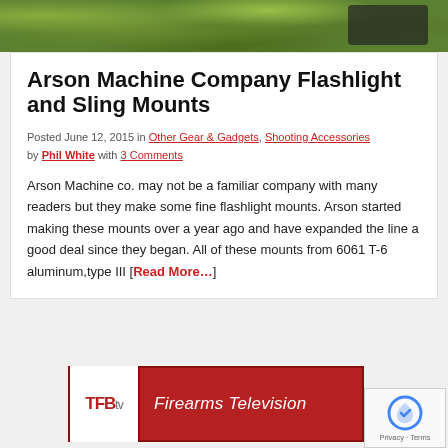[Figure (photo): Hero image showing green foliage and dark mechanical equipment in the background]
Arson Machine Company Flashlight and Sling Mounts
Posted June 12, 2015 in Other Gear & Gadgets, Shooting Accessories by Phil White with 3 Comments
Arson Machine co. may not be a familiar company with many readers but they make some fine flashlight mounts. Arson started making these mounts over a year ago and have expanded the line a good deal since they began. All of these mounts from 6061 T-6 aluminum,type III [Read More…]
[Figure (logo): TFBtv - Firearms Television banner advertisement in red with white TFB logo box]